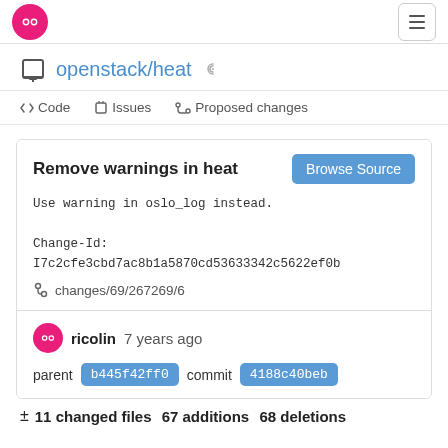openstack/heat
<> Code   Issues   Proposed changes
Remove warnings in heat
Use warning in oslo_log instead.

Change-Id:
I7c2cfe3cbd7ac8b1a5870cd53633342c5622ef0b
changes/69/267269/6
ricolin  7 years ago
parent  b445f42ff0   commit  4188c40beb
± 11 changed files  67 additions  68 deletions